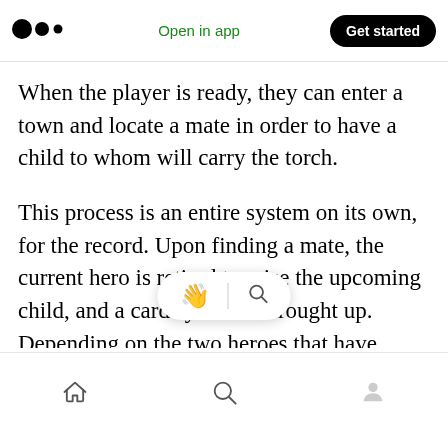Medium app header with logo, Open in app, Get started button
When the player is ready, they can enter a town and locate a mate in order to have a child to whom will carry the torch.
This process is an entire system on its own, for the record. Upon finding a mate, the current hero is retired to raise the upcoming child, and a card system is brought up. Depending on the two heroes that have copulated, the number of cards that the player gets to flip changes with the older a mate is the fewer cards. These cards effectively represent the gene[tic likelihood] of the new [hero and it will determine...]
Bottom navigation bar: Home, Search, Profile